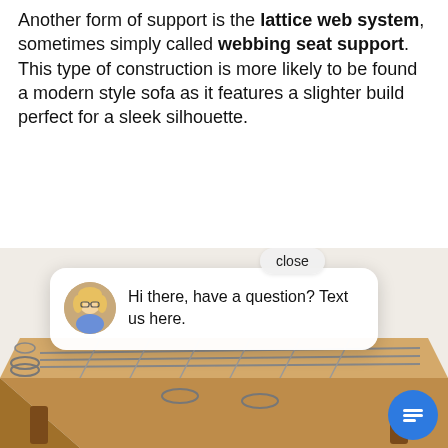Another form of support is the lattice web system, sometimes simply called webbing seat support. This type of construction is more likely to be found a modern style sofa as it features a slighter build perfect for a sleek silhouette.
[Figure (photo): Photo of a sofa/bed frame with lattice spring webbing system on a wooden frame, shown from above. A live chat popup overlay is visible showing a woman's avatar and text 'Hi there, have a question? Text us here.' with a close button and a blue chat icon.]